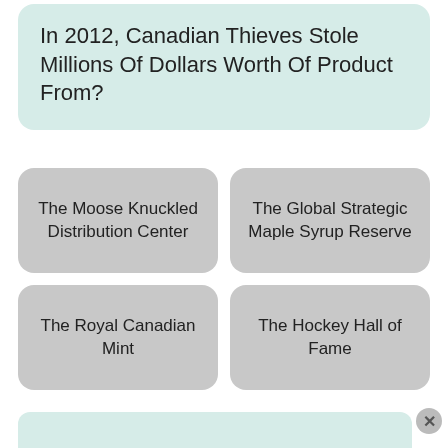In 2012, Canadian Thieves Stole Millions Of Dollars Worth Of Product From?
The Moose Knuckled Distribution Center
The Global Strategic Maple Syrup Reserve
The Royal Canadian Mint
The Hockey Hall of Fame